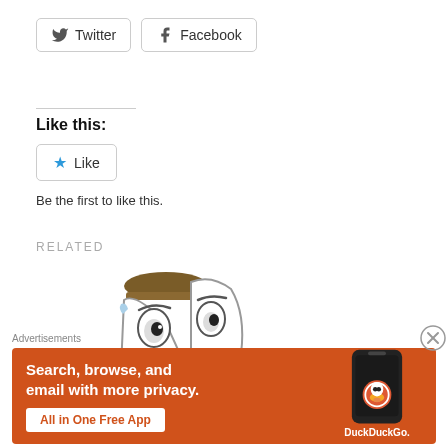[Figure (other): Twitter and Facebook social share buttons]
Like this:
[Figure (other): Like button with star icon]
Be the first to like this.
RELATED
[Figure (illustration): Cartoon illustration of a surprised-looking character with big eyes, partial crop showing top half of face with brown hat]
Advertisements
[Figure (other): DuckDuckGo advertisement banner. Text: Search, browse, and email with more privacy. All in One Free App. DuckDuckGo.]